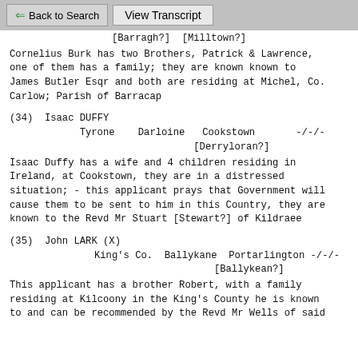← Back to Search   View Transcript
[Barragh?]  [Milltown?]
Cornelius Burk has two Brothers, Patrick & Lawrence, one of them has a family; they are known known to James Butler Esqr and both are residing at Michel, Co. Carlow; Parish of Barracap
(34)  Isaac DUFFY
        Tyrone    Darloine   Cookstown       -/-/-
                    [Derryloran?]
Isaac Duffy has a wife and 4 children residing in Ireland, at Cookstown, they are in a distressed situation; - this applicant prays that Government will cause them to be sent to him in this Country, they are known to the Revd Mr Stuart [Stewart?] of Kildraee
(35)  John LARK (X)
             King's Co.  Ballykane  Portarlington -/-/-
                          [Ballykean?]
This applicant has a brother Robert, with a family residing at Kilcoony in the King's County he is known to and can be recommended by the Revd Mr Wells of said